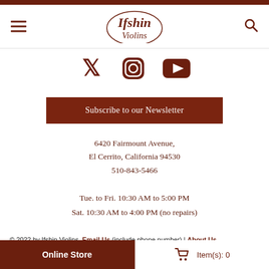Ifshin Violins
[Figure (logo): Ifshin Violins logo with violin outline and italic serif text]
[Figure (illustration): Social media icons: Twitter/X, Instagram, YouTube in dark brown]
Subscribe to our Newsletter
6420 Fairmount Avenue, El Cerrito, California 94530 510-843-5466
Tue. to Fri. 10:30 AM to 5:00 PM Sat. 10:30 AM to 4:00 PM (no repairs)
© 2022 by Ifshin Violins, Email Us (include phone number) | About Us
Online Store | Item(s): 0